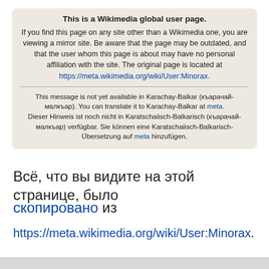This is a Wikimedia global user page. If you find this page on any site other than a Wikimedia one, you are viewing a mirror site. Be aware that the page may be outdated, and that the user whom this page is about may have no personal affiliation with the site. The original page is located at https://meta.wikimedia.org/wiki/User:Minorax.
This message is not yet available in Karachay-Balkar (къарачай-малкъар). You can translate it to Karachay-Balkar at meta. Dieser Hinweis ist noch nicht in Karatschaiisch-Balkarisch (къарачай-малкъар) verfügbar. Sie können eine Karatschaiisch-Balkarisch-Übersetzung auf meta hinzufügen.
Всё, что вы видите на этой странице, было скопировано из https://meta.wikimedia.org/wiki/User:Minorax.